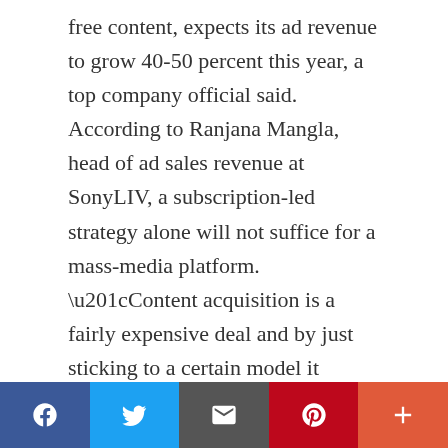free content, expects its ad revenue to grow 40-50 percent this year, a top company official said. According to Ranjana Mangla, head of ad sales revenue at SonyLIV, a subscription-led strategy alone will not suffice for a mass-media platform. “Content acquisition is a fairly expensive deal and by just sticking to a certain model it doesn’t become viable,” Mangla told Moneycontrol . “A combination of the two will help.” According to experts, streaming platforms spend Rs 50 lakh to Rs 1 crore per episode for shows. The cost of content is expected to increase almost 30 percent annually over the next two years as demand increases from existing and new platforms. The
Facebook | Twitter | Email | Pinterest | More